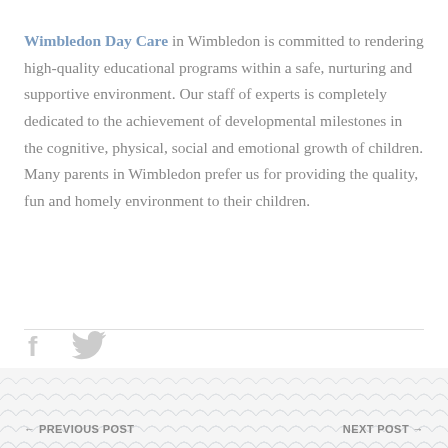Wimbledon Day Care in Wimbledon is committed to rendering high-quality educational programs within a safe, nurturing and supportive environment. Our staff of experts is completely dedicated to the achievement of developmental milestones in the cognitive, physical, social and emotional growth of children. Many parents in Wimbledon prefer us for providing the quality, fun and homely environment to their children.
[Figure (other): Social media icons: Facebook and Twitter, rendered in light grey]
← PREVIOUS POST    NEXT POST →